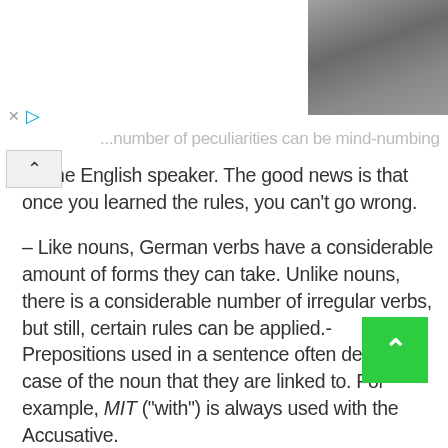[Figure (photo): Screenshot of a webpage with a photo of a person in the top right corner, and UI elements including an X close button, a play button, and a collapse/up arrow button on the left side.]
...number of peculiarities can be mind-numbing for the English speaker. The good news is that once you learned the rules, you can't go wrong.
– Like nouns, German verbs have a considerable amount of forms they can take. Unlike nouns, there is a considerable number of irregular verbs, but still, certain rules can be applied.- Prepositions used in a sentence often decide the case of the noun that they are linked to. For example, MIT ("with") is always used with the Accusative.